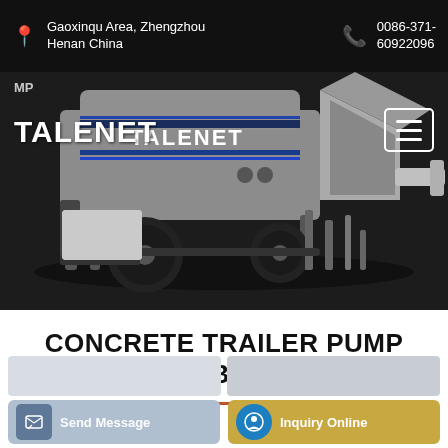Gaoxinqu Area, Zhengzhou Henan China | 0086-371-60922096
[Figure (photo): Talenet concrete trailer pump machine, grey/white, on dark background with TALENET branding and logo]
TALENET
CONCRETE TRAILER PUMP AZERBAIJAN
Send Message
Inquiry Online